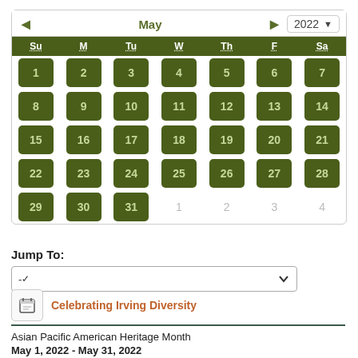[Figure (other): Interactive monthly calendar showing May 2022 with dark olive green day buttons for days 1-31, and greyed-out days 1-4 for the next month. Navigation arrows for previous/next month and year dropdown.]
Jump To:
[Figure (other): Dropdown select box with a dash placeholder and dropdown arrow]
Celebrating Irving Diversity
Asian Pacific American Heritage Month
May 1, 2022 - May 31, 2022
More Details